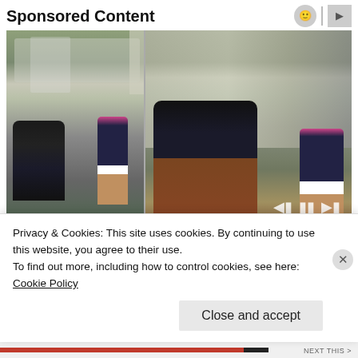Sponsored Content
[Figure (photo): Two photos side by side: left shows a bearded man crouching next to a small girl in front of a garbage truck; right shows the same man and girl posing together and smiling in front of the truck.]
[Pics] Girl Gives Garbage Man
Privacy & Cookies: This site uses cookies. By continuing to use this website, you agree to their use.
To find out more, including how to control cookies, see here:
Cookie Policy
Close and accept